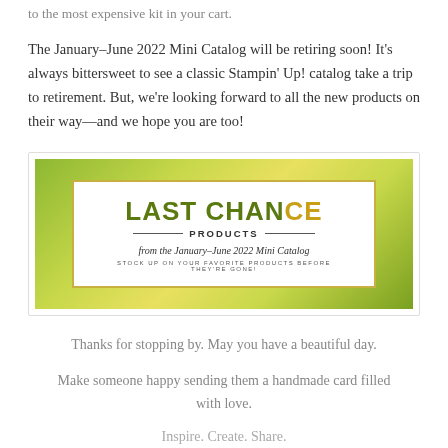to the most expensive kit in your cart.
The January–June 2022 Mini Catalog will be retiring soon! It's always bittersweet to see a classic Stampin' Up! catalog take a trip to retirement. But, we're looking forward to all the new products on their way—and we hope you are too!
[Figure (illustration): Last Chance Products banner from the January–June 2022 Mini Catalog with green gradient background and white box with gold border. Text reads: LAST CHANCE PRODUCTS from the January–June 2022 Mini Catalog. STOCK UP ON YOUR FAVORITE PRODUCTS BEFORE THEY'RE GONE!]
Thanks for stopping by. May you have a beautiful day.
Make someone happy sending them a handmade card filled with love.
Inspire. Create. Share.